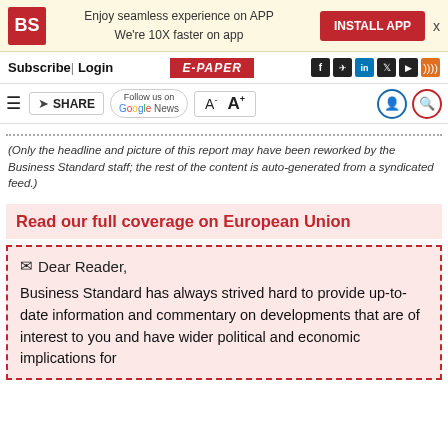BS | Enjoy seamless experience on APP We're 10X faster on app | INSTALL APP
Subscribe | Login | E-PAPER
≡ SHARE | Follow us on Google News | A- A+
(Only the headline and picture of this report may have been reworked by the Business Standard staff; the rest of the content is auto-generated from a syndicated feed.)
Read our full coverage on European Union
✉ Dear Reader,

Business Standard has always strived hard to provide up-to-date information and commentary on developments that are of interest to you and have wider political and economic implications for